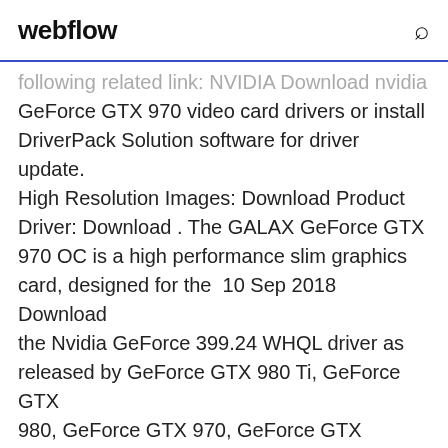webflow
following related link: NVIDIA Download nvidia GeForce GTX 970 video card drivers or install DriverPack Solution software for driver update. High Resolution Images: Download Product Driver: Download . The GALAX GeForce GTX 970 OC is a high performance slim graphics card, designed for the 10 Sep 2018 Download the Nvidia GeForce 399.24 WHQL driver as released by GeForce GTX 980 Ti, GeForce GTX 980, GeForce GTX 970, GeForce GTX
Download Drivers. > Advanced Driver Search. SHIELD · NVIDIA Twitter UK · NVIDIA Facebook UK. NVIDIA Driver Downloads. Advanced Driver Search  Best Nvidia Driver for GTX